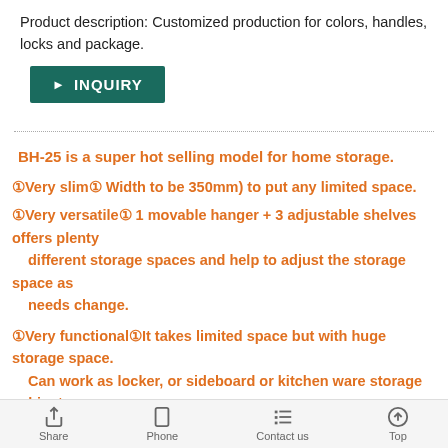Product description: Customized production for colors, handles, locks and package.
[Figure (other): INQUIRY button with dark teal background and white text with arrow]
BH-25 is a super hot selling model for home storage.
①Very slim① Width to be 350mm) to put any limited space.
①Very versatile① 1 movable hanger + 3 adjustable shelves offers plenty different storage spaces and help to adjust the storage space as needs change.
①Very functional①It takes limited space but with huge storage space. Can work as locker, or sideboard or kitchen ware storage cabinet. Define it so many names.
Share   Phone   Contact us   Top